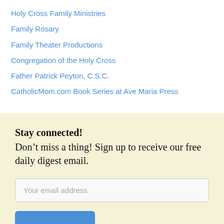Holy Cross Family Ministries
Family Rosary
Family Theater Productions
Congregation of the Holy Cross
Father Patrick Peyton, C.S.C.
CatholicMom.com Book Series at Ave Maria Press
Stay connected!
Don’t miss a thing! Sign up to receive our free daily digest email.
Your email address